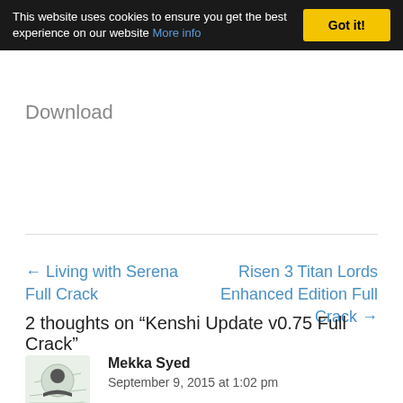This website uses cookies to ensure you get the best experience on our website More info  Got it!
Download
← Living with Serena Full Crack
Risen 3 Titan Lords Enhanced Edition Full Crack →
2 thoughts on “Kenshi Update v0.75 Full Crack”
Mekka Syed
September 9, 2015 at 1:02 pm